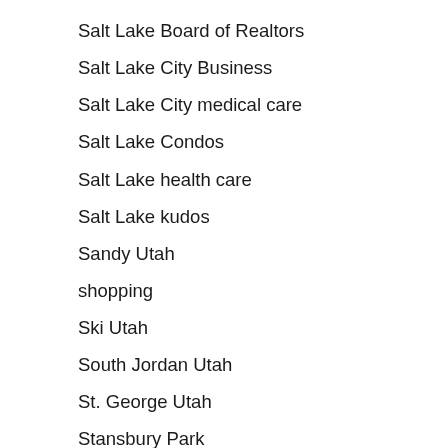Salt Lake Board of Realtors
Salt Lake City Business
Salt Lake City medical care
Salt Lake Condos
Salt Lake health care
Salt Lake kudos
Sandy Utah
shopping
Ski Utah
South Jordan Utah
St. George Utah
Stansbury Park